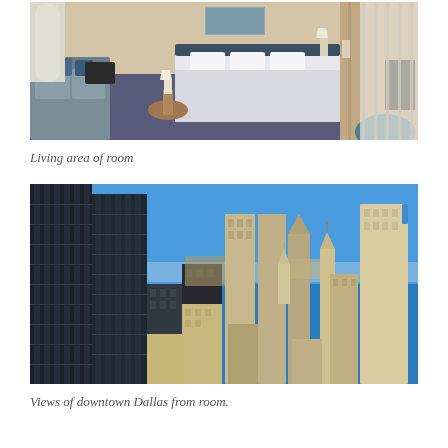[Figure (photo): Hotel room interior showing a living area with a grey sofa with blue pillows, a bed with white linens, a small round side table, hallway corridor, and curtains on the right side.]
Living area of room
[Figure (photo): Aerial view of downtown Dallas skyline from a hotel room, showing numerous skyscrapers and office buildings under a clear blue sky.]
Views of downtown Dallas from room.